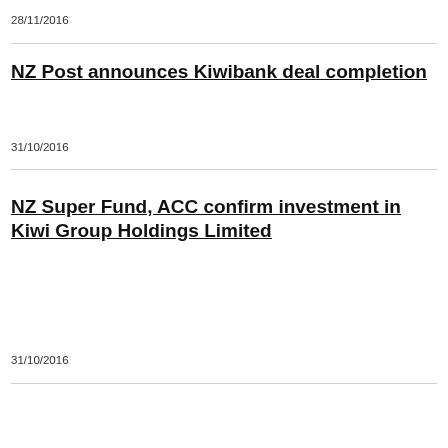28/11/2016
NZ Post announces Kiwibank deal completion
31/10/2016
NZ Super Fund, ACC confirm investment in Kiwi Group Holdings Limited
31/10/2016